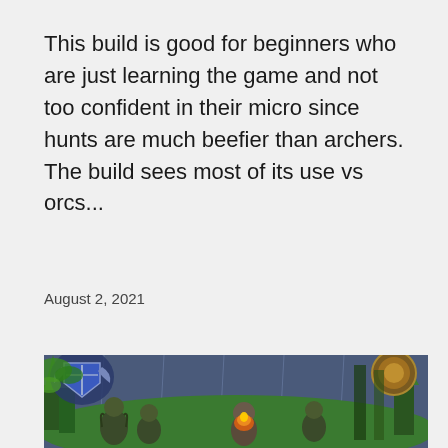This build is good for beginners who are just learning the game and not too confident in their micro since hunts are much beefier than archers. The build sees most of its use vs orcs...
August 2, 2021
[Figure (screenshot): Screenshot of a Warcraft III (or similar RTS) game scene showing fantasy game characters on a green forested map with rain effects. A blue/silver shield emblem is visible in the top-left corner and a round emblem in the top-right. Several orc-like units and a central character with fire effects are visible.]